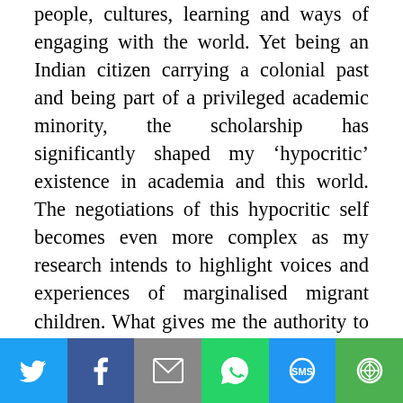people, cultures, learning and ways of engaging with the world. Yet being an Indian citizen carrying a colonial past and being part of a privileged academic minority, the scholarship has significantly shaped my 'hypocritic' existence in academia and this world. The negotiations of this hypocritic self becomes even more complex as my research intends to highlight voices and experiences of marginalised migrant children. What gives me the authority to do so? And how might the identity of being a Commonwealth Scholar falsely legitimise my authority in representing the voices of the marginalised? All the while I ask myself if I am the one becoming the